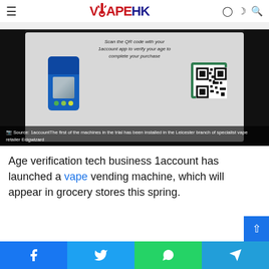VAPE HK
[Figure (photo): A hand holding a smartphone showing the 1account age verification app in front of a kiosk screen that reads 'Scan the QR code with your 1account app to verify your age to complete your purchase'. A green-bordered QR code is displayed on the kiosk screen.]
Source: 1accountThe first of the machines in the trial has been installed in the Leicester branch of specialist vape retailer Ecigwizard
Age verification tech business 1account has launched a vape vending machine, which will appear in grocery stores this spring.